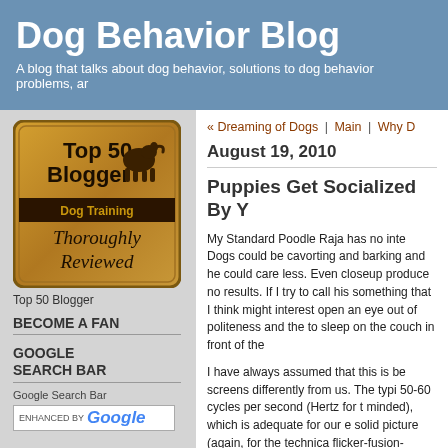Dog Behavior Blog
A blog that talks about dog behavior, solutions to dog behavior problems, ar
[Figure (illustration): Top 50 Blogger Dog Training Thoroughly Reviewed badge — a gold/brown square badge with a dog silhouette]
Top 50 Blogger
BECOME A FAN
GOOGLE SEARCH BAR
Google Search Bar
ENHANCED BY Google
« Dreaming of Dogs | Main | Why D
August 19, 2010
Puppies Get Socialized By Y
My Standard Poodle Raja has no inte... Dogs could be cavorting and barking... and he could care less. Even closeup... produce no results. If I try to call his... something that I think might interest... open an eye out of politeness and the... to sleep on the couch in front of the
I have always assumed that this is be... screens differently from us. The typi... 50-60 cycles per second (Hertz for t... minded), which is adequate for our e... solid picture (again, for the technica... flicker-fusion-frequency). Dogs on